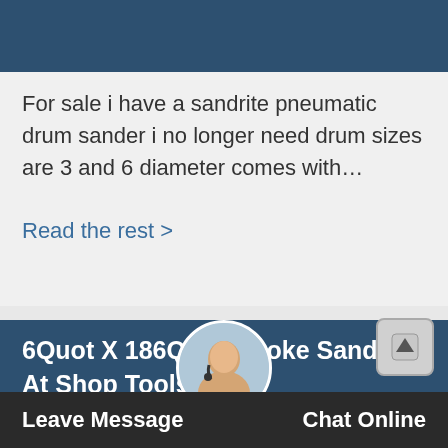[Figure (photo): Dark blue/teal header bar at top of page]
For sale i have a sandrite pneumatic drum sander i no longer need drum sizes are 3 and 6 diameter comes with…
Read the rest >
6Quot X 186Quot Stroke Sander At Shop Tools And
G0679 6 x 186 stroke sander a stroke sander is a must have for door and cabinet shops if you make doors cabinet do…
Read the rest >
[Figure (photo): Customer service avatar photo of a woman with headset]
Leave Message    Chat Online
Grinders Amp Sanders Harbor Freight Tools